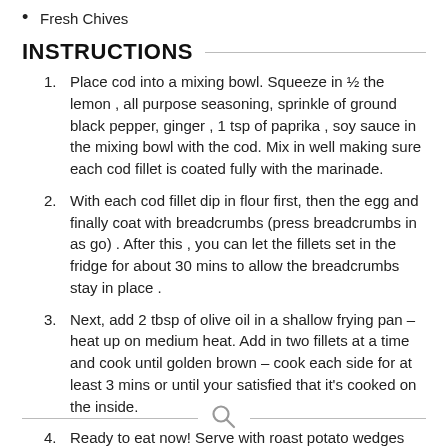Fresh Chives
INSTRUCTIONS
Place cod into a mixing bowl. Squeeze in ½ the lemon , all purpose seasoning, sprinkle of ground black pepper, ginger , 1 tsp of paprika , soy sauce in the mixing bowl with the cod. Mix in well making sure each cod fillet is coated fully with the marinade.
With each cod fillet dip in flour first, then the egg and finally coat with breadcrumbs (press breadcrumbs in as go) . After this , you can let the fillets set in the fridge for about 30 mins to allow the breadcrumbs stay in place .
Next, add 2 tbsp of olive oil in a shallow frying pan – heat up on medium heat. Add in two fillets at a time and cook until golden brown – cook each side for at least 3 mins or until your satisfied that it's cooked on the inside.
Ready to eat now! Serve with roast potato wedges and peas . Also don't forget to add on a little tartare sauce and top with sprinkles of finely chopped chives .